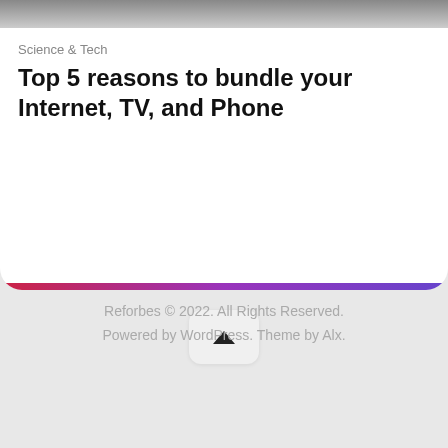[Figure (screenshot): Top portion of a white rounded card showing a cropped image strip at the very top]
Science & Tech
Top 5 reasons to bundle your Internet, TV, and Phone
[Figure (illustration): Scroll-to-top button with upward chevron arrow, rounded square button on gray background]
Reforbes © 2022. All Rights Reserved. Powered by WordPress. Theme by Alx.